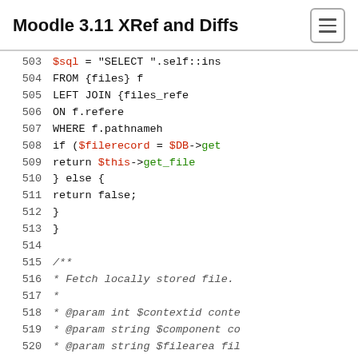Moodle 3.11 XRef and Diffs
503  $sql = "SELECT ".self::ins
504            FROM {files} f
505       LEFT JOIN {files_refe
506                  ON f.refere
507            WHERE f.pathnameh
508       if ($filerecord = $DB->get
509           return $this->get_file
510       } else {
511           return false;
512       }
513  }
514  
515       /**
516        * Fetch locally stored file.
517        *
518        * @param int $contextid conte
519        * @param string $component co
520        * @param string $filearea fil
521        * @param int $itemid item ID